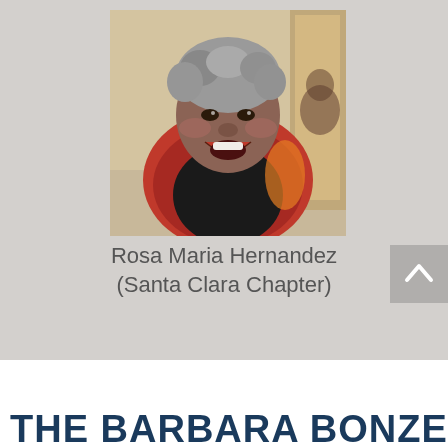[Figure (photo): Portrait photo of Rosa Maria Hernandez, a smiling woman with short gray hair wearing a red/dark patterned wrap over a black top]
Rosa Maria Hernandez
(Santa Clara Chapter)
THE BARBARA BONZE